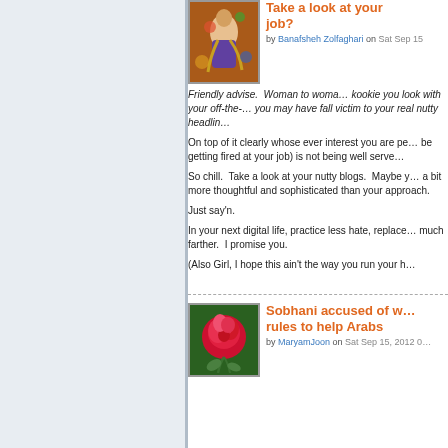[Figure (photo): Thumbnail illustration of a colorful Persian/Middle Eastern painting depicting a dancing figure]
Take a look at your job?
by Banafsheh Zolfaghari on Sat Sep 15
Friendly advise. Woman to woman. kookie you look with your off-the- you may have fall victim to your real nutty headlin
On top of it clearly whose ever interest you are pe be getting fired at your job) is not being well serve
So chill. Take a look at your nutty blogs. Maybe y a bit more thoughtful and sophisticated than your approach.
Just say'n.
In your next digital life, practice less hate, replace much farther. I promise you.
(Also Girl, I hope this ain't the way you run your h
[Figure (photo): Thumbnail photo of a red rose]
Sobhani accused of w rules to help Arabs
by MaryamJoon on Sat Sep 15, 2012 0